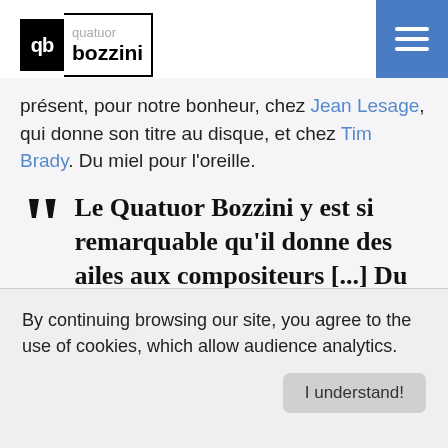quatuor bozzini
présent, pour notre bonheur, chez Jean Lesage, qui donne son titre au disque, et chez Tim Brady. Du miel pour l'oreille.
Le Quatuor Bozzini y est si remarquable qu'il donne des ailes aux compositeurs [...] Du miel pour l'oreille.
By continuing browsing our site, you agree to the use of cookies, which allow audience analytics.